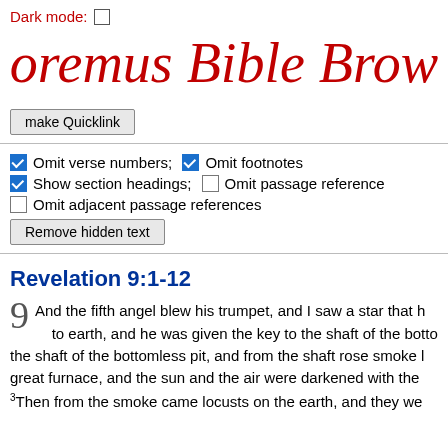Dark mode: (unchecked checkbox)
oremus Bible Brow
make Quicklink
Omit verse numbers; (checked) Omit footnotes (checked) Show section headings; (unchecked) Omit passage reference (unchecked) Omit adjacent passage references
Remove hidden text
Revelation 9:1-12
9 And the fifth angel blew his trumpet, and I saw a star that h to earth, and he was given the key to the shaft of the botto the shaft of the bottomless pit, and from the shaft rose smoke great furnace, and the sun and the air were darkened with the 3Then from the smoke came locusts on the earth, and they we